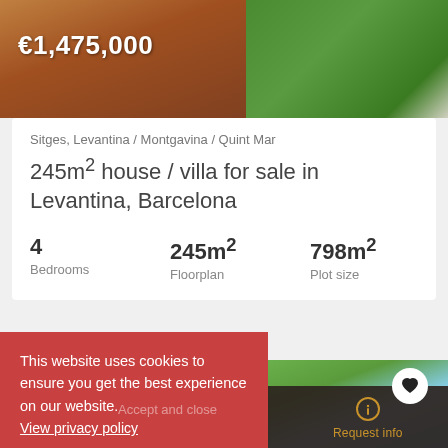[Figure (photo): Aerial/outdoor photo of property deck and garden area, price overlay €1,475,000]
€1,475,000
Sitges, Levantina / Montgavina / Quint Mar
245m² house / villa for sale in Levantina, Barcelona
4
Bedrooms
245m²
Floorplan
798m²
Plot size
This website uses cookies to ensure you get the best experience on our website. View privacy policy
[Figure (photo): Partial exterior photo of property with palm trees and blue sky]
Accept and close
Call us
Request call
Request info